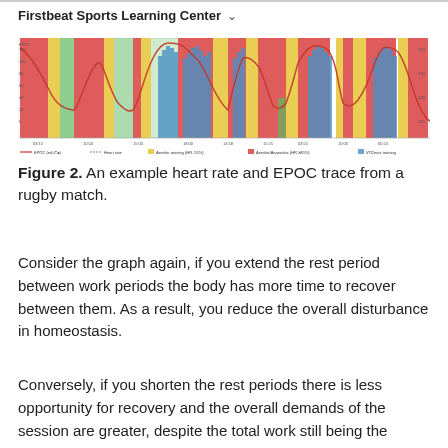Firstbeat Sports Learning Center ∨
[Figure (continuous-plot): A heart rate and EPOC trace chart from a rugby match showing colored zones (red, yellow, green, blue) over time, with EPOC curve and heart rate line overlaid. X-axis shows time intervals, y-axis shows EPOC and heart rate values. Legend items include EPOC (mL/O2), Heart rate, and aerobic/anaerobic training zones.]
Figure 2. An example heart rate and EPOC trace from a rugby match.
Consider the graph again, if you extend the rest period between work periods the body has more time to recover between them. As a result, you reduce the overall disturbance in homeostasis.
Conversely, if you shorten the rest periods there is less opportunity for recovery and the overall demands of the session are greater, despite the total work still being the